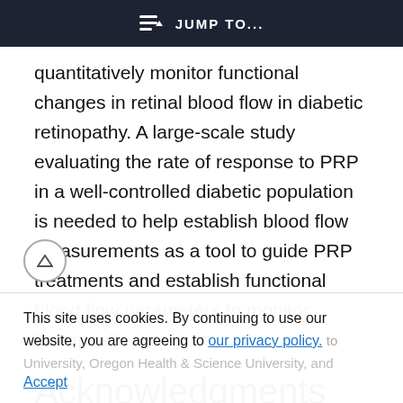JUMP TO...
quantitatively monitor functional changes in retinal blood flow in diabetic retinopathy. A large-scale study evaluating the rate of response to PRP in a well-controlled diabetic population is needed to help establish blood flow measurements as a tool to guide PRP treatments and establish functional blood flow parameters to monitor therapeutic response.
Acknowledgments
Supported by National Institutes of Health Grant
This site uses cookies. By continuing to use our website, you are agreeing to our privacy policy. Accept